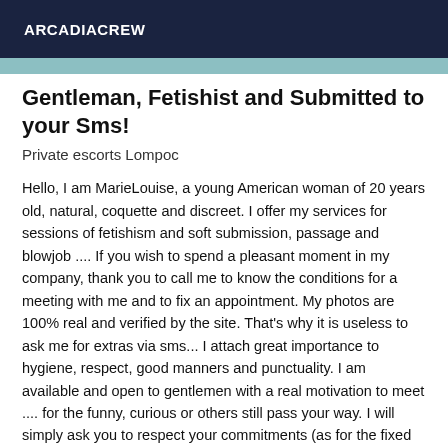ARCADIACREW
Gentleman, Fetishist and Submitted to your Sms!
Private escorts Lompoc
Hello, I am MarieLouise, a young American woman of 20 years old, natural, coquette and discreet. I offer my services for sessions of fetishism and soft submission, passage and blowjob .... If you wish to spend a pleasant moment in my company, thank you to call me to know the conditions for a meeting with me and to fix an appointment. My photos are 100% real and verified by the site. That's why it is useless to ask me for extras via sms... I attach great importance to hygiene, respect, good manners and punctuality. I am available and open to gentlemen with a real motivation to meet .... for the funny, curious or others still pass your way. I will simply ask you to respect your commitments (as for the fixed